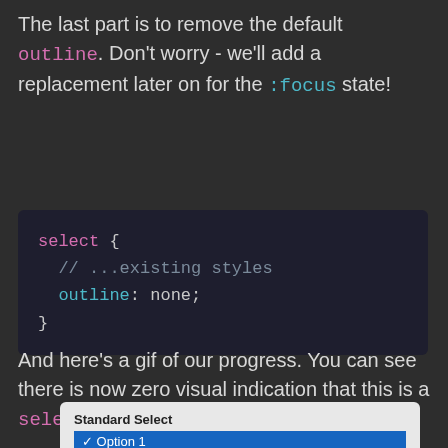The last part is to remove the default outline. Don't worry - we'll add a replacement later on for the :focus state!
select {
  // ...existing styles
  outline: none;
}
And here's a gif of our progress. You can see there is now zero visual indication that this is a select prior to clicking on it:
[Figure (screenshot): Screenshot of a Standard Select dropdown with Option 1 highlighted in blue and Option 2 partially visible below.]